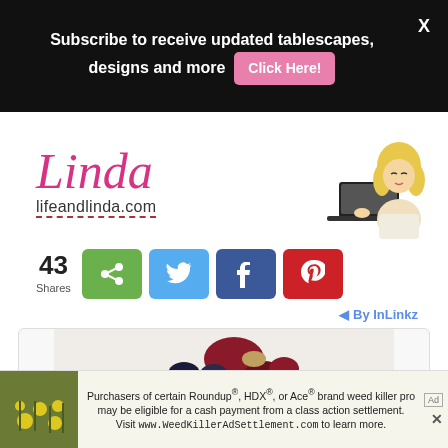Subscribe to receive updated tablescapes, designs and more  Click Here!
[Figure (illustration): Linda script logo with lifeandlinda.com URL and illustrated woman at laptop]
43 Shares
[Figure (infographic): Social share buttons: green share, Twitter, Facebook, Pinterest]
By InLinkz
[Figure (photo): Partial card preview with berries and dessert image]
Purchasers of certain Roundup®, HDX®, or Ace® brand weed killer pro may be eligible for a cash payment from a class action settlement. Visit www.WeedKillerAdSettlement.com to learn more.